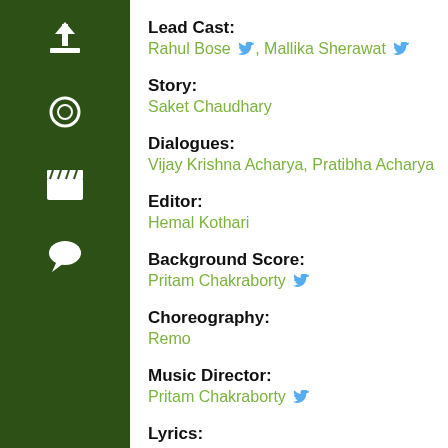[Figure (other): Dark green vertical sidebar with icons: upload arrow, circle/record, clapperboard, speech bubble]
Lead Cast: Rahul Bose, Mallika Sherawat
Story: Saket Chaudhary
Dialogues: Vijay Krishna Acharya, Pratibha Acharya
Editor: Hemal Kothari
Background Score: Pritam Chakraborty
Choreography: Remo
Music Director: Pritam Chakraborty
Lyrics: Mayur Puri
Costume Designer: Falguni Thakore, Ashley Rebello